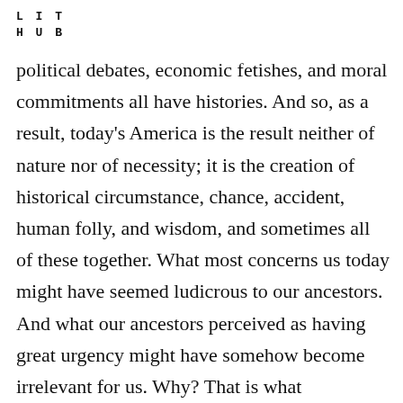L I T
H U B
political debates, economic fetishes, and moral commitments all have histories. And so, as a result, today's America is the result neither of nature nor of necessity; it is the creation of historical circumstance, chance, accident, human folly, and wisdom, and sometimes all of these together. What most concerns us today might have seemed ludicrous to our ancestors. And what our ancestors perceived as having great urgency might have somehow become irrelevant for us. Why? That is what intellectual history tries to figure out. In seeking the answers, we achieve a little epistemic humility,